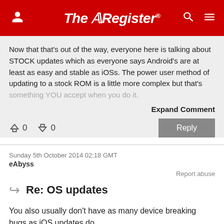The Register
Now that that's out of the way, everyone here is talking about STOCK updates which as everyone says Android's are at least as easy and stable as iOSs. The power user method of updating to a stock ROM is a little more complex but that's something YOU accept when you do it.
Expand Comment
0  0  Reply
Sunday 5th October 2014 02:18 GMT
eAbyss
Report abuse
Re: OS updates
You also usually don't have as many device breaking bugs as iOS updates do.